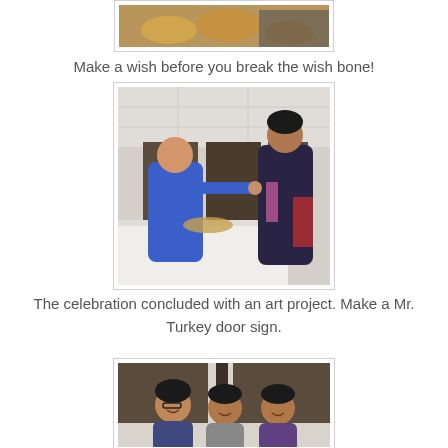[Figure (photo): Top portion of a photo showing food items on a table, partially cropped at the top of the page]
Make a wish before you break the wish bone!
[Figure (photo): Photo of a child in a blue sweatshirt and an adult in a dark top breaking a wishbone over a table with food]
The celebration concluded with an art project. Make a Mr. Turkey door sign.
[Figure (photo): Three students smiling, partially visible at the bottom of the page]